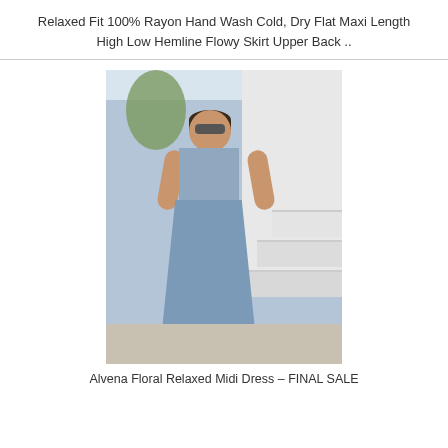Relaxed Fit 100% Rayon Hand Wash Cold, Dry Flat Maxi Length High Low Hemline Flowy Skirt Upper Back ..
[Figure (photo): A woman wearing a blue floral midi dress with wide straps, standing in a Mediterranean-style white setting with stairs and palm trees, wearing sandals and sunglasses.]
Alvena Floral Relaxed Midi Dress – FINAL SALE